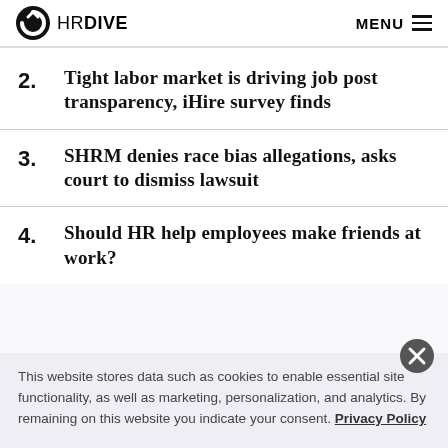HR DIVE | MENU
2. Tight labor market is driving job post transparency, iHire survey finds
3. SHRM denies race bias allegations, asks court to dismiss lawsuit
4. Should HR help employees make friends at work?
This website stores data such as cookies to enable essential site functionality, as well as marketing, personalization, and analytics. By remaining on this website you indicate your consent. Privacy Policy